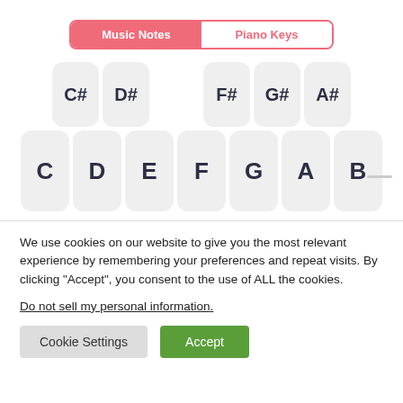[Figure (screenshot): Music Notes / Piano Keys tab toggle interface showing sharp keys (C#, D#, F#, G#, A#) and natural keys (C, D, E, F, G, A, B) as piano key buttons]
We use cookies on our website to give you the most relevant experience by remembering your preferences and repeat visits. By clicking “Accept”, you consent to the use of ALL the cookies.
Do not sell my personal information.
Cookie Settings
Accept